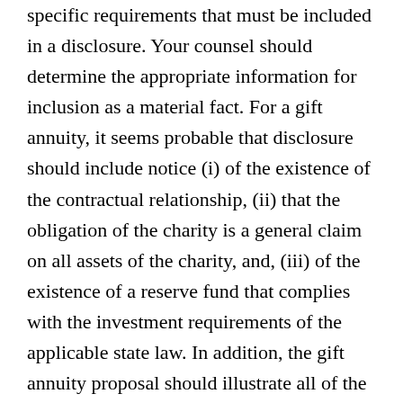specific requirements that must be included in a disclosure. Your counsel should determine the appropriate information for inclusion as a material fact. For a gift annuity, it seems probable that disclosure should include notice (i) of the existence of the contractual relationship, (ii) that the obligation of the charity is a general claim on all assets of the charity, and, (iii) of the existence of a reserve fund that complies with the investment requirements of the applicable state law. In addition, the gift annuity proposal should illustrate all of the various tax benefits and rules applicable to the annuity. The first three requirements can be included in both promotional materials and a cover letter to the donor. Most software illustrations would comply with the reasonable disclosure requirements for the tax and payout benefits. To reduce securities concerns, common investment language should be removed from proposals. For